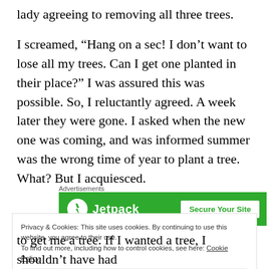lady agreeing to removing all three trees.
I screamed, “Hang on a sec! I don’t want to lose all my trees. Can I get one planted in their place?” I was assured this was possible. So, I reluctantly agreed. A week later they were gone. I asked when the new one was coming, and was informed summer was the wrong time of year to plant a tree. What? But I acquiesced.
Advertisements
[Figure (screenshot): Jetpack advertisement banner with green background, Jetpack logo and 'Secure Your Site' button]
Privacy & Cookies: This site uses cookies. By continuing to use this website, you agree to their use.
To find out more, including how to control cookies, see here: Cookie Policy
Close and accept
to get me a tree. If I wanted a tree, I shouldn’t have had